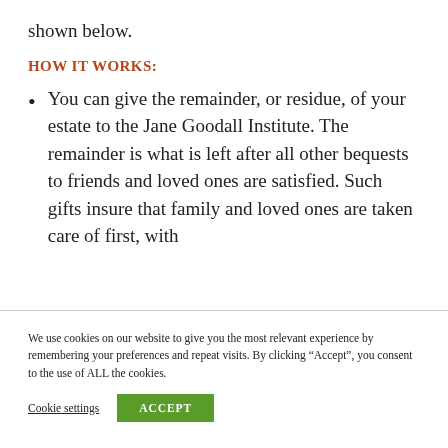shown below.
HOW IT WORKS:
You can give the remainder, or residue, of your estate to the Jane Goodall Institute. The remainder is what is left after all other bequests to friends and loved ones are satisfied. Such gifts insure that family and loved ones are taken care of first, with
We use cookies on our website to give you the most relevant experience by remembering your preferences and repeat visits. By clicking “Accept”, you consent to the use of ALL the cookies.
Cookie settings   ACCEPT